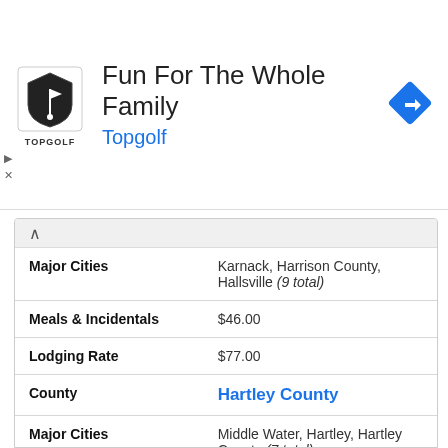[Figure (advertisement): Topgolf advertisement banner with logo, text 'Fun For The Whole Family', 'Topgolf' subtitle in blue, and a blue navigation arrow icon]
| Major Cities | Karnack, Harrison County, Hallsville (9 total) |
| Meals & Incidentals | $46.00 |
| Lodging Rate | $77.00 |
| County | Hartley County |
| Major Cities | Middle Water, Hartley, Hartley County (7 total) |
| Meals & Incidentals | $46.00 |
| Lodging Rate | $77.00 |